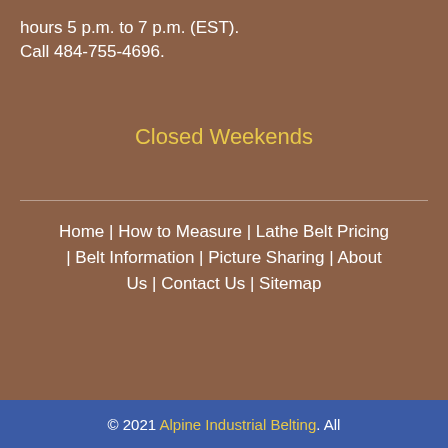hours 5 p.m. to 7 p.m. (EST). Call 484-755-4696.
Closed Weekends
Home | How to Measure | Lathe Belt Pricing | Belt Information | Picture Sharing | About Us | Contact Us | Sitemap
© 2021 Alpine Industrial Belting. All